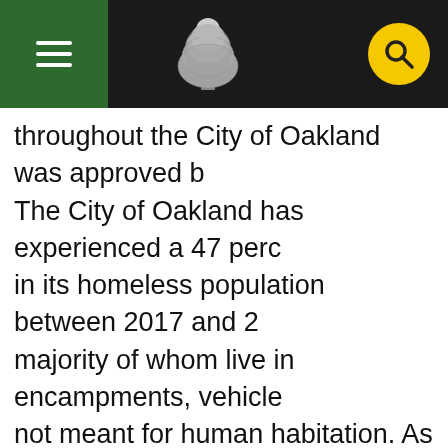City of Oakland government website header with navigation menu, tree logo, and search button
throughout the City of Oakland was approved b... The City of Oakland has experienced a 47 perc... in its homeless population between 2017 and 2... majority of whom live in encampments, vehicle... not meant for human habitation. As our city au... found in her homelessness audit, the city's curr... for our unhoused are inadequate. We must imp... housing interventions to address the needs of h... residents, including but not limited to emergen... governed sites, RV safe parking, hotel rooms, ar... housing. I thank my colleagues on the city cour... identifying sites in each of their districts. It is tir... use City-owned, privately owned, and other pu... parcels in each Council District for use as emer... homelessness interventions.